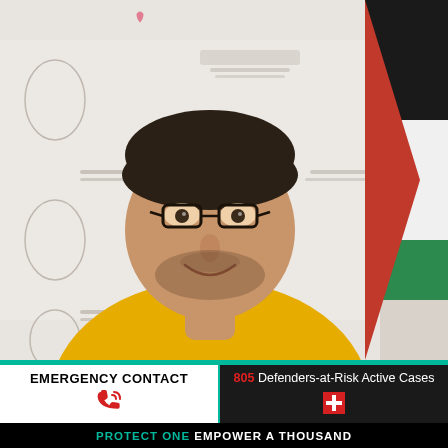[Figure (photo): A man wearing glasses and a yellow Arizona State Sun Devils t-shirt, smiling, seated in front of a white banner with Arabic text and logos. A Palestinian flag is visible on the right side of the background.]
EMERGENCY CONTACT
805 Defenders-at-Risk Active Cases
PROTECT ONE EMPOWER A THOUSAND